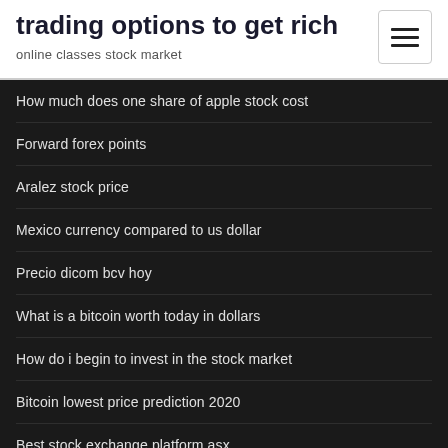trading options to get rich
online classes stock market
How much does one share of apple stock cost
Forward forex points
Aralez stock price
Mexico currency compared to us dollar
Precio dicom bcv hoy
What is a bitcoin worth today in dollars
How do i begin to invest in the stock market
Bitcoin lowest price prediction 2020
Best stock exchange platform asx
Stocks short covering